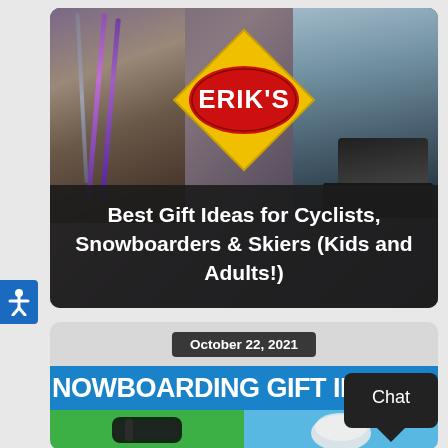[Figure (screenshot): Erik's Bike Board Ski store promotional image showing cyclists, snowboarders, and skiers with Erik's logo diamond (yellow diamond with red oval containing white text ERIK'S) overlaid on action sport photos]
Best Gift Ideas for Cyclists, Snowboarders & Skiers (Kids and Adults!)
[Figure (screenshot): Second card showing date 'October 22, 2021' over a blue banner reading 'SNOWBOARDING GIFT IDEAS' with product imagery below on green and blue backgrounds]
October 22, 2021
NOWBOARDING GIFT IDEA
Chat